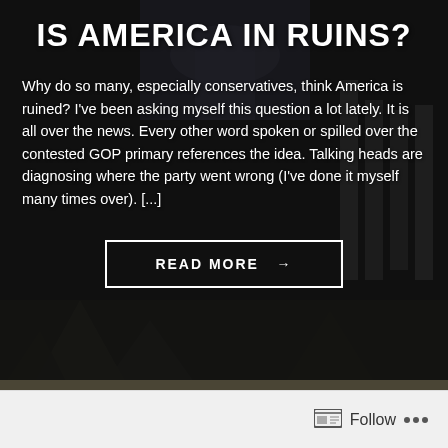IS AMERICA IN RUINS?
Why do so many, especially conservatives, think America is ruined? I’ve been asking myself this question a lot lately. It is all over the news. Every other word spoken or spilled over the contested GOP primary references the idea. Talking heads are diagnosing where the party went wrong (I’ve done it myself many times over). [...]
[Figure (other): Button labeled READ MORE with right arrow, white border, on dark background]
Follow